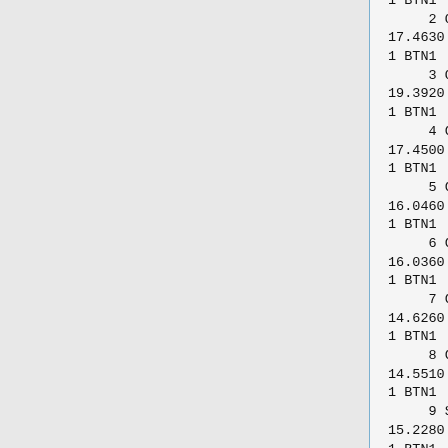1 BTN1           0.5675
     2 O11              33.4260
17.4630   13.4730 O.co2
1 BTN1            -0.8596
     3 O12              32.5320
19.3920   13.9660 O.co2
1 BTN1            -0.8472
     4 C10              31.5990
17.4500   14.9620 C.3
1 BTN1            -0.1966
     5 C9               31.2260
16.0460   14.5600 C.3
1 BTN1            -0.0459
     6 C8               30.5160
16.0360   13.2000 C.3
1 BTN1            -0.0920
     7 C7               30.0160
14.6260   12.8220 C.3
1 BTN1            -0.0683
     8 C2               29.2080
14.5510   11.5450 C.3
1 BTN1            -0.0028
     9 S1               27.5110
15.2280   11.7030 S.3
1 BTN1            -0.2811